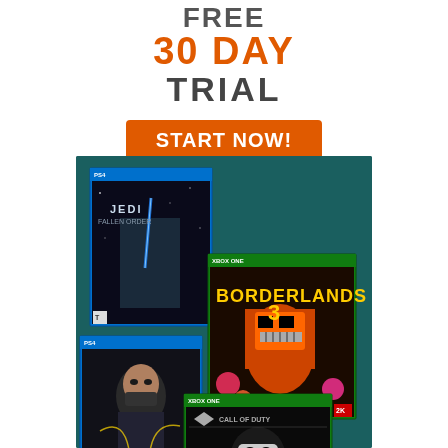FREE 30 DAY TRIAL
START NOW!
[Figure (illustration): Four video game boxes (Star Wars Jedi: Fallen Order for PS4, Borderlands 3 for Xbox One, Death Stranding for PS4, Call of Duty Modern Warfare for Xbox One) displayed on a teal/dark background.]